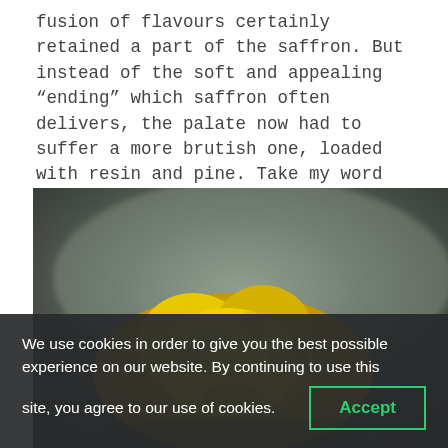fusion of flavours certainly retained a part of the saffron. But instead of the soft and appealing “ending” which saffron often delivers, the palate now had to suffer a more brutish one, loaded with resin and pine. Take my word for it – this combination should be avoided!
[Figure (photo): Close-up photo of a bright yellow lumpy substance (resembling saffron or a yellow mineral/food item) against a dark grey-green blurred background.]
We use cookies in order to give you the best possible experience on our website. By continuing to use this site, you agree to our use of cookies.